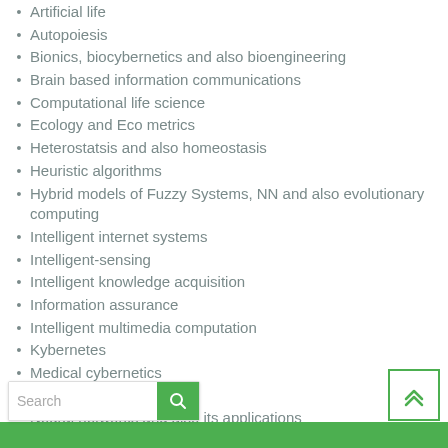Artificial life
Autopoiesis
Bionics, biocybernetics and also bioengineering
Brain based information communications
Computational life science
Ecology and Eco metrics
Heterostatsis and also homeostasis
Heuristic algorithms
Hybrid models of Fuzzy Systems, NN and also evolutionary computing
Intelligent internet systems
Intelligent-sensing
Intelligent knowledge acquisition
Information assurance
Intelligent multimedia computation
Kybernetes
Medical cybernetics
Neuro science
Neural networks and also its applications
Practopoiesis
Planning and also control of autonomous vehicle and systems biology